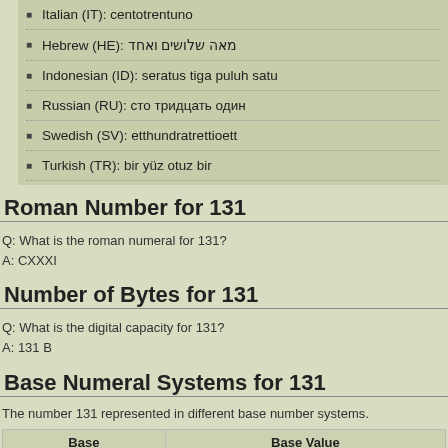Italian (IT): centotrentuno
Hebrew (HE): מאה שלושים ואחד
Indonesian (ID): seratus tiga puluh satu
Russian (RU): сто тридцать один
Swedish (SV): etthundratrettioett
Turkish (TR): bir yüz otuz bir
Roman Number for 131
Q: What is the roman numeral for 131?
A: CXXXI
Number of Bytes for 131
Q: What is the digital capacity for 131?
A: 131 B
Base Numeral Systems for 131
The number 131 represented in different base number systems.
| Base | Base Value |
| --- | --- |